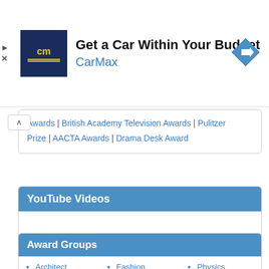[Figure (advertisement): CarMax ad banner with logo, headline 'Get a Car Within Your Budget', brand name 'CarMax', and a blue diamond-shaped navigation arrow icon on the right.]
Awards | British Academy Television Awards | Pulitzer Prize | AACTA Awards | Drama Desk Award
YouTube Videos
Award Groups
Architect
Documentary
Economics
Engineering
Humanities
Literature
Fashion
Food
Maths
Medicine
Movies
Physics
Science
Sports
Television
Theatre